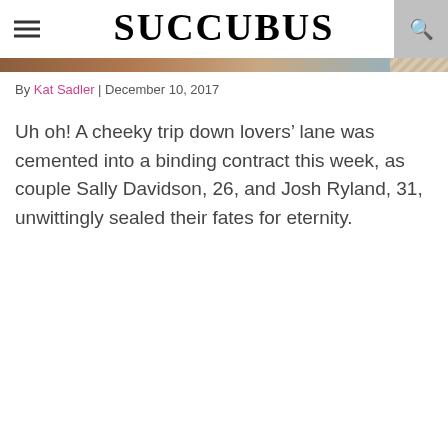SUCCUBUS
By Kat Sadler | December 10, 2017
Uh oh! A cheeky trip down lovers’ lane was cemented into a binding contract this week, as couple Sally Davidson, 26, and Josh Ryland, 31, unwittingly sealed their fates for eternity.